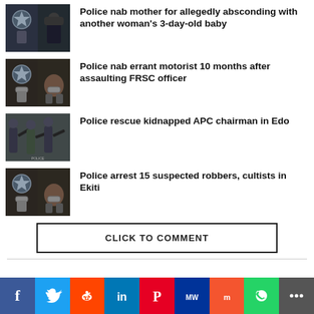Police nab mother for allegedly absconding with another woman’s 3-day-old baby
Police nab errant motorist 10 months after assaulting FRSC officer
Police rescue kidnapped APC chairman in Edo
Police arrest 15 suspected robbers, cultists in Ekiti
CLICK TO COMMENT
[Figure (infographic): Social media share buttons: Facebook, Twitter, Reddit, LinkedIn, Pinterest, MeWe, Mix, WhatsApp, More]